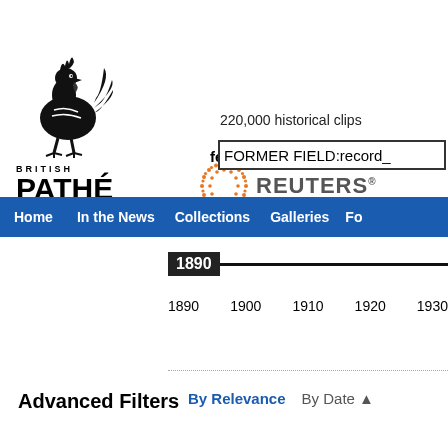[Figure (logo): British Pathé rooster logo with BRITISH PATHÉ text]
featuring
220,000 historical clips
[Figure (logo): Reuters logo with dotted circle and text, historical collection label]
FORMER FIELD:record_
Home  In the News  Collections  Galleries  Fo...
[Figure (other): Timeline slider starting at 1890 with a horizontal line]
1890  1900  1910  1920  1930
Advanced Filters
By Relevance   By Date ▲